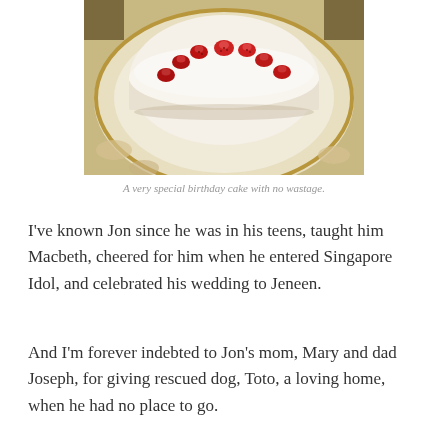[Figure (photo): Top-down photo of a white birthday cake with cream frosting topped with fresh strawberry halves arranged in a circle, sitting on a decorative gold-rimmed white porcelain plate.]
A very special birthday cake with no wastage.
I've known Jon since he was in his teens, taught him Macbeth, cheered for him when he entered Singapore Idol, and celebrated his wedding to Jeneen.
And I'm forever indebted to Jon's mom, Mary and dad Joseph, for giving rescued dog, Toto, a loving home, when he had no place to go.